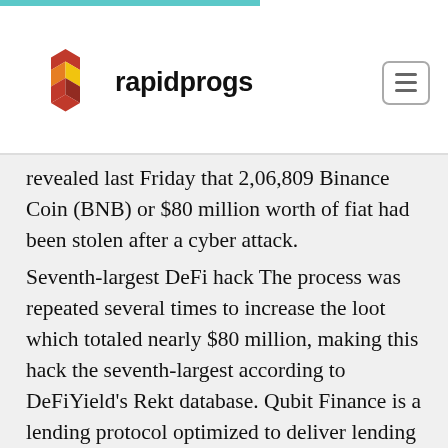rapidprogs
revealed last Friday that 2,06,809 Binance Coin (BNB) or $80 million worth of fiat had been stolen after a cyber attack.
Seventh-largest DeFi hack The process was repeated several times to increase the loot which totaled nearly $80 million, making this hack the seventh-largest according to DeFiYield's Rekt database. Qubit Finance is a lending protocol optimized to deliver lending as a utility for Binance Smart Chain.
Over recent months, several DeFi platforms like Grim Finance, Cream Finance, pNetwork have been hacked. The latest attack on Qubit is one the...